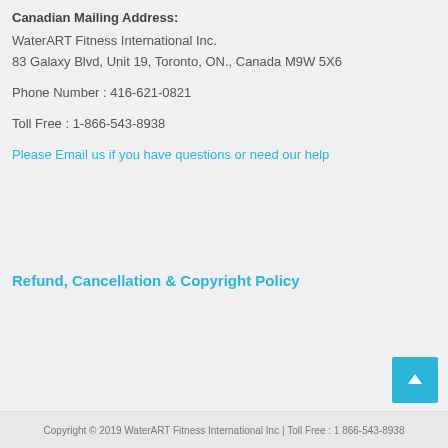Canadian Mailing Address:
WaterART Fitness International Inc.
83 Galaxy Blvd, Unit 19, Toronto, ON., Canada M9W 5X6
Phone Number : 416-621-0821
Toll Free : 1-866-543-8938
Please Email us if you have questions or need our help
Refund, Cancellation & Copyright Policy
Copyright © 2019 WaterART Fitness International Inc | Toll Free : 1 866-543-8938